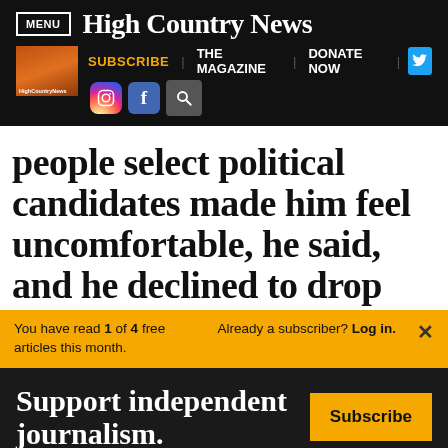MENU | High Country News
[Figure (screenshot): High Country News website navigation bar with SUBSCRIBE, THE MAGAZINE, DONATE NOW links and social media icons (Twitter, Instagram, Facebook, Search)]
people select political candidates made him feel uncomfortable, he said, and he declined to drop out. But a few
You have read 1 of 4 free articles this month. Already a subscriber? Log in.
Support independent journalism. Subscribe